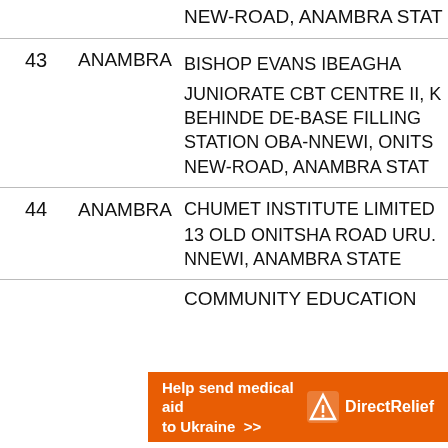| # | State | Address |
| --- | --- | --- |
|  |  | NEW-ROAD, ANAMBRA STAT |
| 43 | ANAMBRA | BISHOP EVANS IBEAGHA JUNIORATE CBT CENTRE II, K BEHINDE DE-BASE FILLING STATION OBA-NNEWI, ONITS NEW-ROAD, ANAMBRA STAT |
| 44 | ANAMBRA | CHUMET INSTITUTE LIMITED 13 OLD ONITSHA ROAD URU. NNEWI, ANAMBRA STATE |
[Figure (other): Advertisement banner: Help send medical aid to Ukraine >> Direct Relief logo]